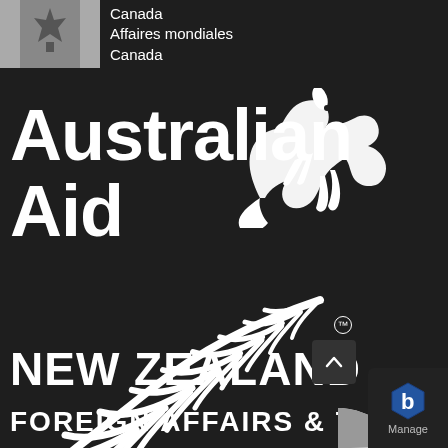[Figure (logo): Canadian flag (maple leaf, grayscale) followed by 'Canada / Affaires mondiales Canada' text in white on dark background]
[Figure (logo): Australian Aid logo: large white bold text 'Australian Aid' with white kangaroo silhouette on dark background]
[Figure (logo): New Zealand silver fern logo in white on dark background with TM mark]
NEW ZEALAND
FOREIGN AFFAIRS & TR
[Figure (logo): Blue hexagonal 'b' logo with 'Manage' label on a page-curl element in bottom right corner]